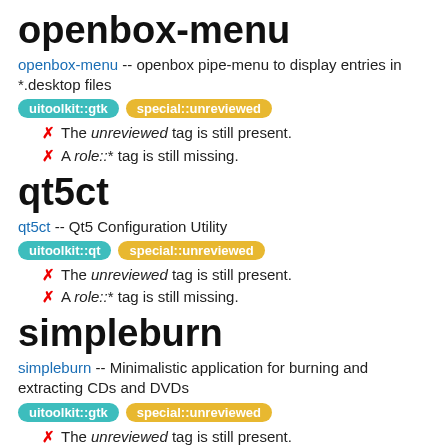openbox-menu
openbox-menu -- openbox pipe-menu to display entries in *.desktop files
uitoolkit::gtk  special::unreviewed
The unreviewed tag is still present.
A role::* tag is still missing.
qt5ct
qt5ct -- Qt5 Configuration Utility
uitoolkit::qt  special::unreviewed
The unreviewed tag is still present.
A role::* tag is still missing.
simpleburn
simpleburn -- Minimalistic application for burning and extracting CDs and DVDs
uitoolkit::gtk  special::unreviewed
The unreviewed tag is still present.